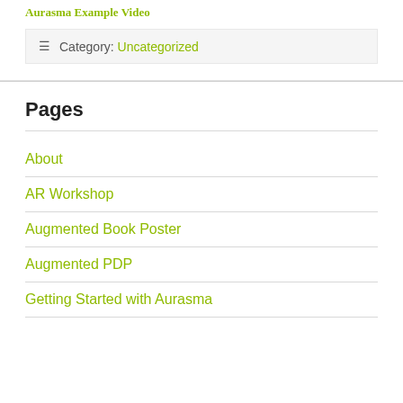Aurasma Example Video
Category: Uncategorized
Pages
About
AR Workshop
Augmented Book Poster
Augmented PDP
Getting Started with Aurasma